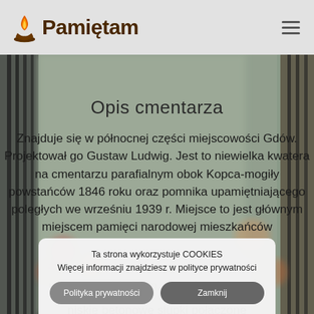Pamiętam
[Figure (photo): Blurred background photo of a cemetery with fencing and flowers]
Opis cmentarza
Znajduje się w północnej części miejscowości Gdów. Projektował go Gustaw Ludwig. Jest to niewielka kwatera na cmentarzu parafialnym obok Kopca-mogiły powstańców 1846 roku oraz pomnika upamiętniającego poległych we wrześniu 1939 r. Miejsce to jest głównym miejscem pamięci narodowej mieszkańców
Ta strona wykorzystuje COOKIES
Więcej informacji znajdziesz w polityce prywatności
Polityka prywatności   Zamknij
niskie betonowe słupki połączone